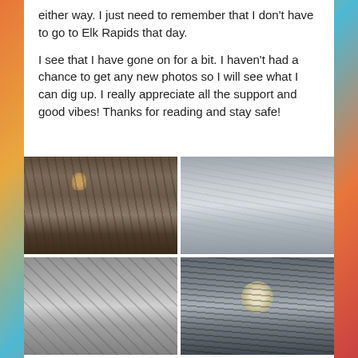either way. I just need to remember that I don't have to go to Elk Rapids that day.
I see that I have gone on for a bit. I haven't had a chance to get any new photos so I will see what I can dig up. I really appreciate all the support and good vibes! Thanks for reading and stay safe!
[Figure (photo): Bird (woodpecker) on snowy bare tree branches in winter]
[Figure (photo): Snow-covered forest scene with trees and branches heavily laden with snow]
[Figure (photo): Deer visible through a wire fence or lattice with snow on the ground]
[Figure (photo): Sun visible through bare winter tree silhouettes against gray sky]